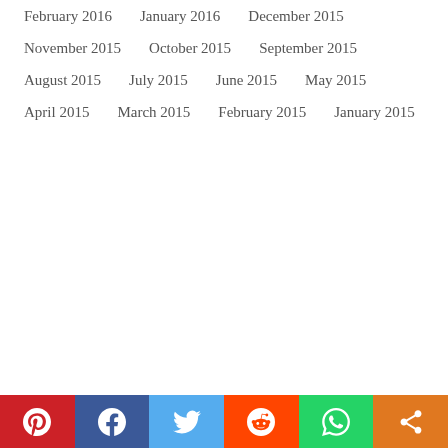February 2016
January 2016
December 2015
November 2015
October 2015
September 2015
August 2015
July 2015
June 2015
May 2015
April 2015
March 2015
February 2015
January 2015
[Figure (other): Social sharing bar with Pinterest, Facebook, Twitter, Reddit, WhatsApp, and Share icons]